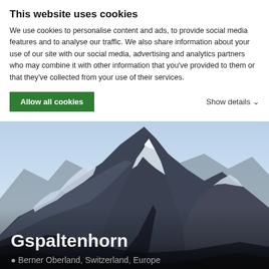This website uses cookies
We use cookies to personalise content and ads, to provide social media features and to analyse our traffic. We also share information about your use of our site with our social media, advertising and analytics partners who may combine it with other information that you've provided to them or that they've collected from your use of their services.
Allow all cookies
Show details ∨
[Figure (photo): Panoramic photograph of the Gspaltenhorn mountain in the Berner Oberland, Switzerland, showing snow-covered rocky peaks against a blue sky.]
Gspaltenhorn
📍 Berner Oberland, Switzerland, Europe